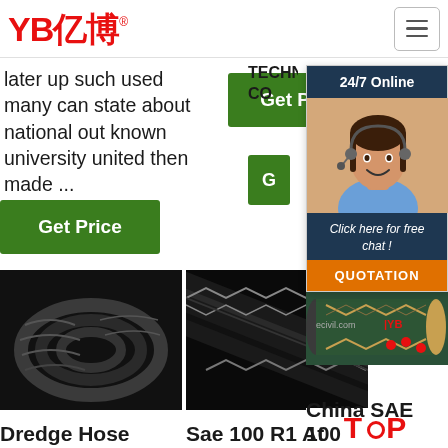YB亿博® [navigation logo and hamburger menu]
later up such used many can state about national out known university united then made ...
[Figure (photo): Green Get Price button (top center)]
TECHNOLOGY CO
[Figure (photo): 24/7 Online chat widget with female customer service representative photo]
[Figure (photo): Green Get Price button (left, lower)]
[Figure (photo): Black rubber dredge hose coiled product image]
[Figure (photo): Black rubber SAE 100 R1 hose product image close-up]
[Figure (photo): YB brand hydraulic hose product image with ecivil.com branding and TOP badge]
Dredge Hose
Sae 100 R1 At
China SAE 100